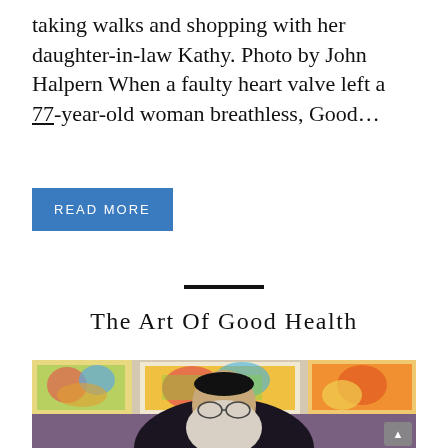taking walks and shopping with her daughter-in-law Kathy. Photo by John Halpern When a faulty heart valve left a 77-year-old woman breathless, Good...
READ MORE
The Art Of Good Health
[Figure (photo): An elderly bearded man with glasses and a black kippah wearing a dark suit, seated in front of several colorful abstract paintings hanging on a wall.]